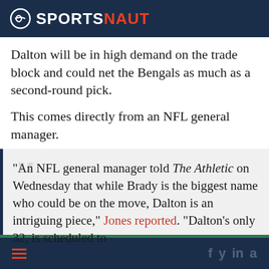SPORTSNAUT
Dalton will be in high demand on the trade block and could net the Bengals as much as a second-round pick.
This comes directly from an NFL general manager.
“An NFL general manager told The Athletic on Wednesday that while Brady is the biggest name who could be on the move, Dalton is an intriguing piece,” Jones reported. “Dalton’s only 32, is scheduled to